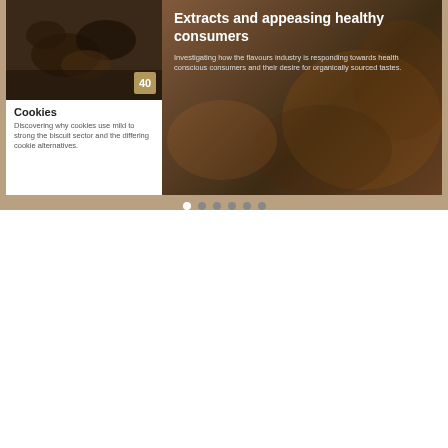[Figure (screenshot): Carousel with two cards: left card shows 'Cookies' article with food photo and number 40, right card shows 'Extracts and appeasing healthy consumers' article with food photo and description text]
[Figure (photo): Background photo of bread/baked goods in a bag with overlay text for newsletter subscription]
Subscribe to our newsletter
Don't miss new updates on your email